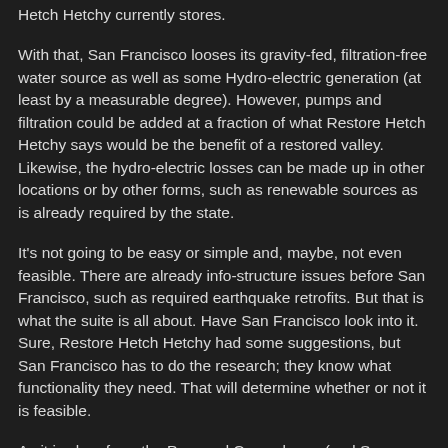Hetch Hetchy currently stores.
With that, San Francisco looses its gravity-fed, filtration-free water source as well as some Hydro-electric generation (at least by a measurable degree). However, pumps and filtration could be added at a fraction of what Restore Hetch Hetchy says would be the benefit of a restored valley. Likewise, the hydro-electric losses can be made up in other locations or by other forms, such as renewable sources as is already required by the state.
It's not going to be easy or simple and, maybe, not even feasible. There are already info-structure issues before San Francisco, such as required earthquake retrofits. But that is what the suite is all about. Have San Francisco look into it. Sure, Restore Hetch Hetchy had some suggestions, but San Francisco has to do the research; they know what functionality they need. That will determine whether or not it is feasible.
As it is clear from the Pros and Cons above, (and San Francisco's less than enthusiastic undertaking in alternative